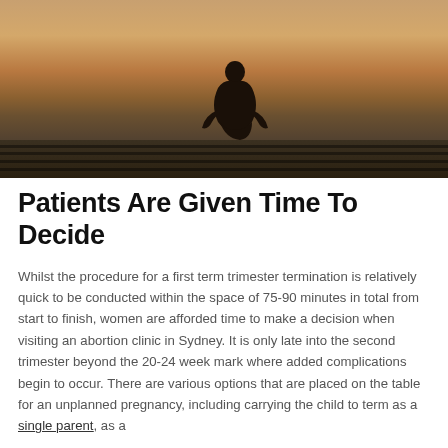[Figure (photo): Silhouette of a person sitting alone on a wooden dock at sunset, hugging their knees, with warm orange-brown tones in the background.]
Patients Are Given Time To Decide
Whilst the procedure for a first term trimester termination is relatively quick to be conducted within the space of 75-90 minutes in total from start to finish, women are afforded time to make a decision when visiting an abortion clinic in Sydney. It is only late into the second trimester beyond the 20-24 week mark where added complications begin to occur. There are various options that are placed on the table for an unplanned pregnancy, including carrying the child to term as a single parent, as a